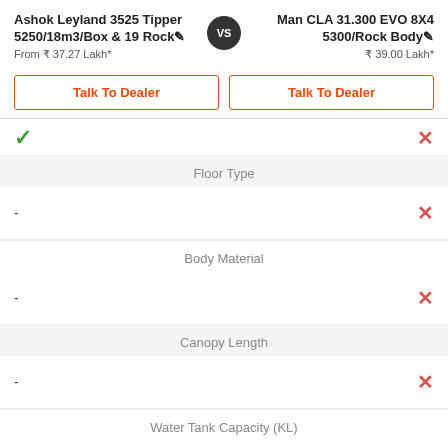Ashok Leyland 3525 Tipper 5250/18m3/Box & 19 Rock vs Man CLA 31.300 EVO 8X4 5300/Rock Body
From ₹ 37.27 Lakh*
₹ 39.00 Lakh*
Talk To Dealer
Talk To Dealer
| Left | Feature | Right |
| --- | --- | --- |
| ✓ |  | ✗ |
| - | Floor Type | ✗ |
| - | Body Material | ✗ |
| - | Canopy Length | ✗ |
| - | Water Tank Capacity (KL) | ✗ |
|  | Water Tank Type |  |